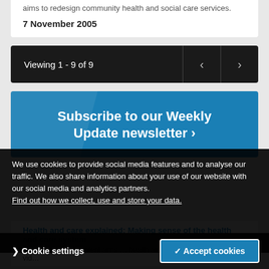aims to redesign community health and social care services.
7 November 2005
Viewing 1 - 9 of 9
Subscribe to our Weekly Update newsletter ›
We use cookies to provide social media features and to analyse our traffic. We also share information about your use of our website with our social media and analytics partners. Find out how we collect, use and store your data.
Health and care explained: Making sense of the health and care system
This selection of content aims to ... health and care system — including vid...
Cookie settings
✓ Accept cookies